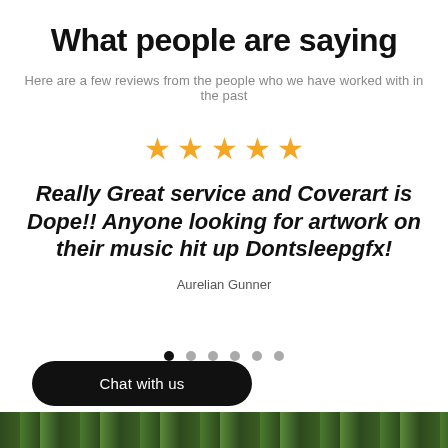What people are saying
Here are a few reviews from the people who we have worked with in the past
[Figure (other): Five golden star rating icons]
Really Great service and Coverart is Dope!! Anyone looking for artwork on their music hit up Dontsleepgfx!
Aurelian Gunner
[Figure (other): Carousel navigation dots, first dot active (black), remaining five dots gray]
Chat with us
[Figure (other): Dark leafy/camouflage pattern banner at bottom of page]